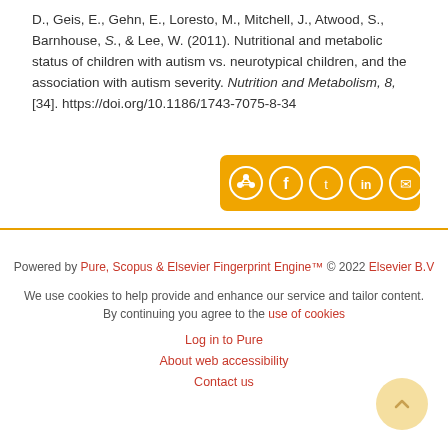D., Geis, E., Gehn, E., Loresto, M., Mitchell, J., Atwood, S., Barnhouse, S., & Lee, W. (2011). Nutritional and metabolic status of children with autism vs. neurotypical children, and the association with autism severity. Nutrition and Metabolism, 8, [34]. https://doi.org/10.1186/1743-7075-8-34
[Figure (other): Share buttons row: share icon, Facebook, Twitter, LinkedIn, Email — gold/amber rounded rectangle]
Powered by Pure, Scopus & Elsevier Fingerprint Engine™ © 2022 Elsevier B.V

We use cookies to help provide and enhance our service and tailor content. By continuing you agree to the use of cookies

Log in to Pure

About web accessibility

Contact us